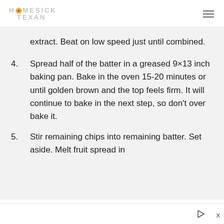HOMESICK TEXAN
extract. Beat on low speed just until combined.
4. Spread half of the batter in a greased 9×13 inch baking pan. Bake in the oven 15-20 minutes or until golden brown and the top feels firm. It will continue to bake in the next step, so don't over bake it.
5. Stir remaining chips into remaining batter. Set aside. Melt fruit spread in